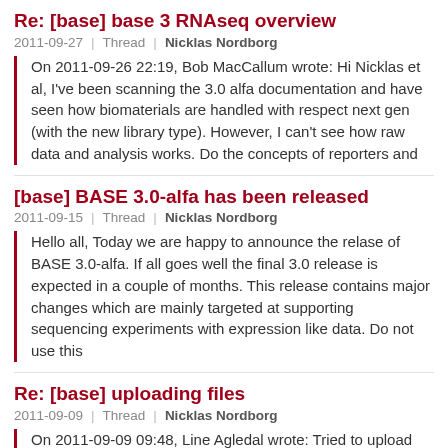Re: [base] base 3 RNAseq overview
2011-09-27  |  Thread  |  Nicklas Nordborg
On 2011-09-26 22:19, Bob MacCallum wrote: Hi Nicklas et al, I've been scanning the 3.0 alfa documentation and have seen how biomaterials are handled with respect next gen (with the new library type). However, I can't see how raw data and analysis works. Do the concepts of reporters and
[base] BASE 3.0-alfa has been released
2011-09-15  |  Thread  |  Nicklas Nordborg
Hello all, Today we are happy to announce the relase of BASE 3.0-alfa. If all goes well the final 3.0 release is expected in a couple of months. This release contains major changes which are mainly targeted at supporting sequencing experiments with expression like data. Do not use this
Re: [base] uploading files
2011-09-09  |  Thread  |  Nicklas Nordborg
On 2011-09-09 09:48, Line Agledal wrote: Tried to upload files to my project in BASE, but I only get an empty window when using the upload tab. Is this a bug or am I doing something wrong? It's hard to tell, since you don't include